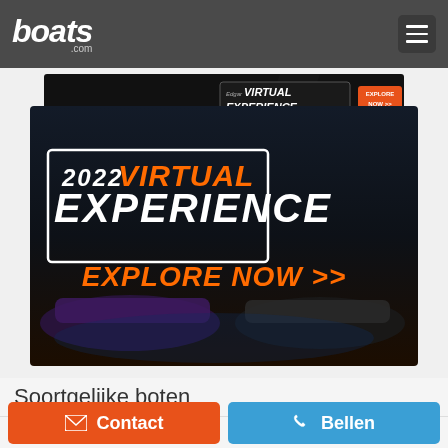boats.com
[Figure (screenshot): Advertisement banner for 2022 Virtual Experience with boats, orange text 'VIRTUAL EXPERIENCE' and 'EXPLORE NOW >>' button on dark background]
Soortgelijke boten
Contact
Bellen